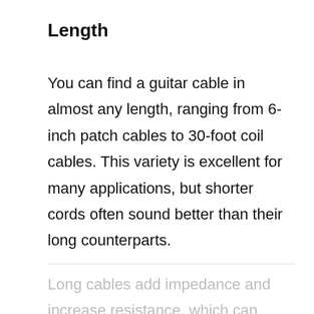Length
You can find a guitar cable in almost any length, ranging from 6-inch patch cables to 30-foot coil cables. This variety is excellent for many applications, but shorter cords often sound better than their long counterparts.
Long cables add impedance and increase resistance, which can lower